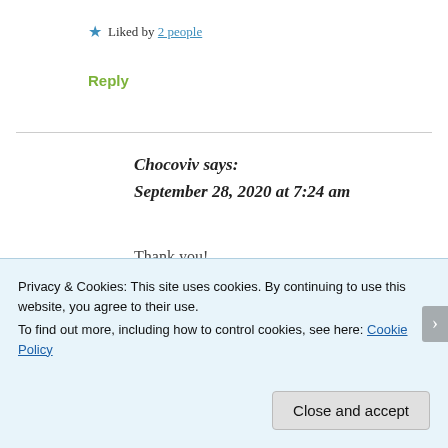★ Liked by 2 people
Reply
Chocoviv says:
September 28, 2020 at 7:24 am
Thank you!
Privacy & Cookies: This site uses cookies. By continuing to use this website, you agree to their use.
To find out more, including how to control cookies, see here: Cookie Policy
Close and accept